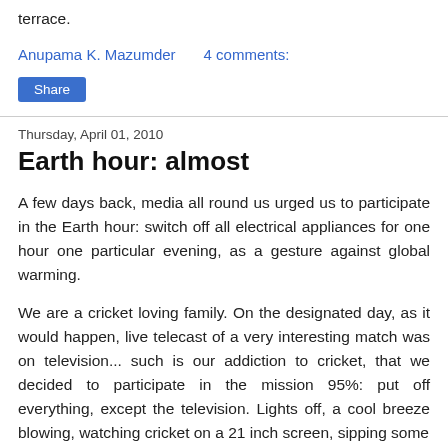terrace.
Anupama K. Mazumder    4 comments:
Share
Thursday, April 01, 2010
Earth hour: almost
A few days back, media all round us urged us to participate in the Earth hour: switch off all electrical appliances for one hour one particular evening, as a gesture against global warming.
We are a cricket loving family. On the designated day, as it would happen, live telecast of a very interesting match was on television... such is our addiction to cricket, that we decided to participate in the mission 95%: put off everything, except the television. Lights off, a cool breeze blowing, watching cricket on a 21 inch screen, sipping some